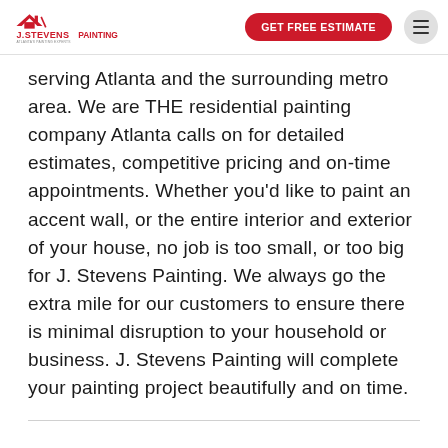J. Stevens Painting — GET FREE ESTIMATE
serving Atlanta and the surrounding metro area. We are THE residential painting company Atlanta calls on for detailed estimates, competitive pricing and on-time appointments. Whether you'd like to paint an accent wall, or the entire interior and exterior of your house, no job is too small, or too big for J. Stevens Painting. We always go the extra mile for our customers to ensure there is minimal disruption to your household or business. J. Stevens Painting will complete your painting project beautifully and on time.